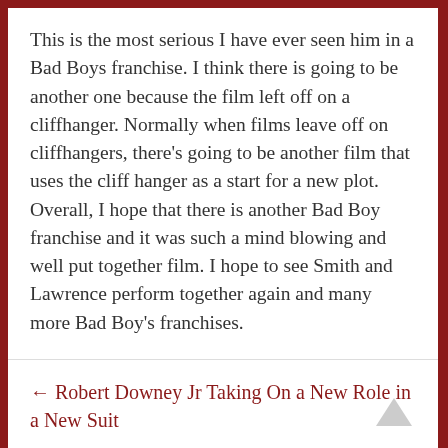This is the most serious I have ever seen him in a Bad Boys franchise. I think there is going to be another one because the film left off on a cliffhanger. Normally when films leave off on cliffhangers, there's going to be another film that uses the cliff hanger as a start for a new plot. Overall, I hope that there is another Bad Boy franchise and it was such a mind blowing and well put together film. I hope to see Smith and Lawrence perform together again and many more Bad Boy's franchises.
← Robert Downey Jr Taking On a New Role in a New Suit